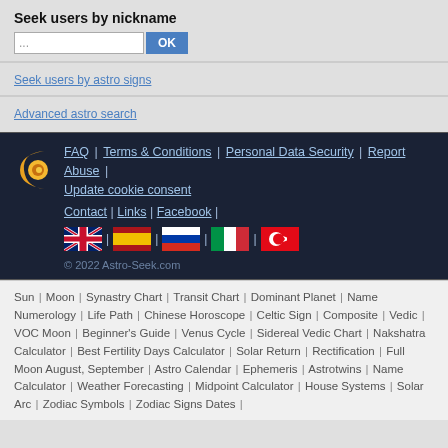Seek users by nickname
Seek users by astro signs
Advanced astro search
[Figure (logo): Astro-Seek crescent moon logo with orange inner circle]
FAQ | Terms & Conditions | Personal Data Security | Report Abuse | Update cookie consent
Contact | Links | Facebook |
[Figure (illustration): Flag icons: USA/UK, Spain, Russia, Italy, Turkey]
© 2022 Astro-Seek.com
Sun | Moon | Synastry Chart | Transit Chart | Dominant Planet | Name Numerology | Life Path | Chinese Horoscope | Celtic Sign | Composite | Vedic | VOC Moon | Beginner's Guide | Venus Cycle | Sidereal Vedic Chart | Nakshatra Calculator | Best Fertility Days Calculator | Solar Return | Rectification | Full Moon August, September | Astro Calendar | Ephemeris | Astrotwins | Name Calculator | Weather Forecasting | Midpoint Calculator | House Systems | Solar Arc | Zodiac Symbols | Zodiac Signs Dates |